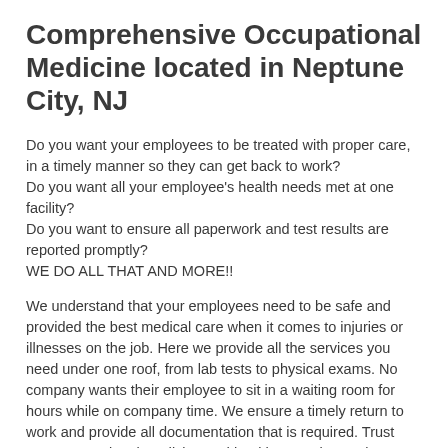Comprehensive Occupational Medicine located in Neptune City, NJ
Do you want your employees to be treated with proper care, in a timely manner so they can get back to work?
Do you want all your employee's health needs met at one facility?
Do you want to ensure all paperwork and test results are reported promptly?
WE DO ALL THAT AND MORE!!
We understand that your employees need to be safe and provided the best medical care when it comes to injuries or illnesses on the job. Here we provide all the services you need under one roof, from lab tests to physical exams. No company wants their employee to sit in a waiting room for hours while on company time. We ensure a timely return to work and provide all documentation that is required. Trust your occupational medicine and health to Hackensack Meridian Urgent Care in Neptune City, NJ.